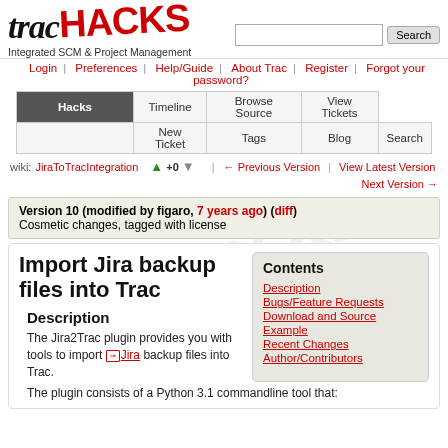[Figure (logo): TracHacks logo with 'trac' in black italic serif and 'HACKS' in red bold handwritten style, subtitle 'Integrated SCM & Project Management']
Login | Preferences | Help/Guide | About Trac | Register | Forgot your password?
Hacks | Timeline | Browse Source | View Tickets | New Ticket | Tags | Blog | Search
wiki: JiraToTracIntegration  +0  ← Previous Version | View Latest Version Next Version →
Version 10 (modified by figaro, 7 years ago) (diff)
Cosmetic changes, tagged with license
Import Jira backup files into Trac
Description
The Jira2Trac plugin provides you with tools to import → Jira backup files into Trac.
Contents
Description
Bugs/Feature Requests
Download and Source
Example
Recent Changes
Author/Contributors
The plugin consists of a Python 3.1 commandline tool that: